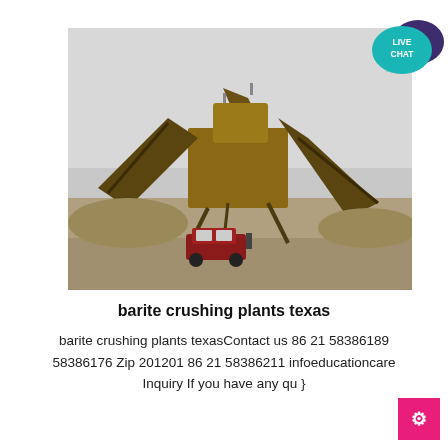[Figure (photo): Outdoor industrial barite crushing plant with large yellow machinery, conveyor belts, and a red car parked in the foreground on a dusty ground with overcast sky]
[Figure (infographic): Live Chat speech bubble icon with teal/cyan background and dark purple chat bubble overlay, text reads LIVE CHAT]
barite crushing plants texas
barite crushing plants texasContact us 86 21 58386189 58386176 Zip 201201 86 21 58386211 infoeducationcare Inquiry If you have any qu }